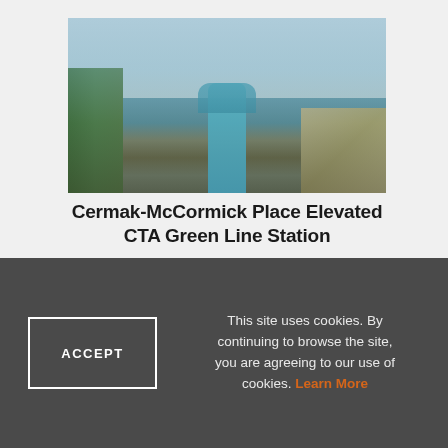[Figure (photo): Aerial/elevated view of CTA Green Line elevated rail tracks running through Chicago urban corridor, with city skyline in background, trees on left, and construction/parking areas on right]
Cermak-McCormick Place Elevated CTA Green Line Station
UNITED STATES — CHICAGO
This site uses cookies. By continuing to browse the site, you are agreeing to our use of cookies. Learn More
ACCEPT